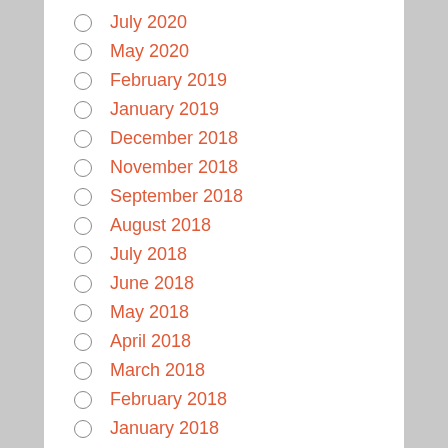July 2020
May 2020
February 2019
January 2019
December 2018
November 2018
September 2018
August 2018
July 2018
June 2018
May 2018
April 2018
March 2018
February 2018
January 2018